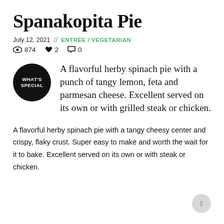Spanakopita Pie
July 12, 2021  //  ENTRÉE / VEGETARIAN
👁 874  ♥ 2  💬 0
[Figure (illustration): Black circle badge with text WHAT'S SPECIAL]
A flavorful herby spinach pie with a punch of tangy lemon, feta and parmesan cheese. Excellent served on its own or with grilled steak or chicken.
A flavorful herby spinach pie with a tangy cheesy center and crispy, flaky crust. Super easy to make and worth the wait for it to bake. Excellent served on its own or with steak or chicken.